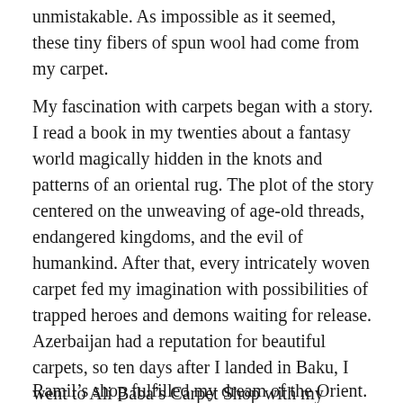unmistakable. As impossible as it seemed, these tiny fibers of spun wool had come from my carpet.
My fascination with carpets began with a story. I read a book in my twenties about a fantasy world magically hidden in the knots and patterns of an oriental rug. The plot of the story centered on the unweaving of age-old threads, endangered kingdoms, and the evil of humankind. After that, every intricately woven carpet fed my imagination with possibilities of trapped heroes and demons waiting for release. Azerbaijan had a reputation for beautiful carpets, so ten days after I landed in Baku, I went to Ali Baba’s Carpet Shop with my Singaporean friend, Salima, and met an Azeri rug dealer named, Ramil.
Ramil’s shop fulfilled my dream of the Orient. The